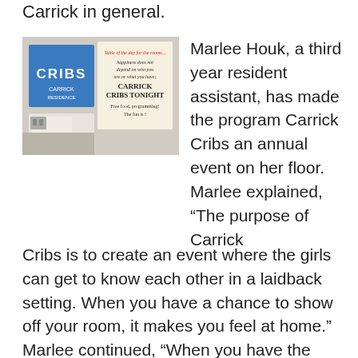Carrick in general.
[Figure (photo): A bulletin board or door with a blue 'CRIBS' sign and a handwritten poster reading 'CARRICK CRIBS TONIGHT' with details about free food and programming.]
Marlee Houk, a third year resident assistant, has made the program Carrick Cribs an annual event on her floor. Marlee explained, “The purpose of Carrick Cribs is to create an event where the girls can get to know each other in a laidback setting. When you have a chance to show off your room, it makes you feel at home.”  Marlee continued, “When you have the opportunity to welcome your neighbors into your space, suddenly your room transforms into your home away from home. I want my residents to be proud of their rooms, and to welcome others in.” As a first year student, I had the opportunity to